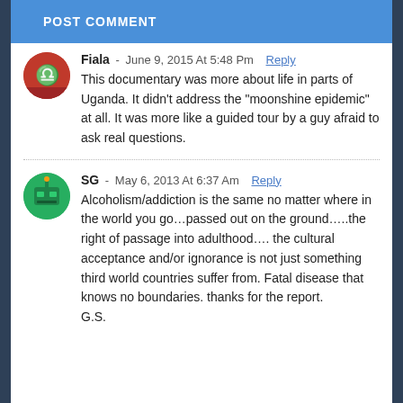[Figure (other): POST COMMENT button in blue]
[Figure (other): Avatar icon for user Fiala — red circle with Libra/scale symbol]
Fiala - June 9, 2015 At 5:48 Pm Reply
This documentary was more about life in parts of Uganda. It didn't address the “moonshine epidemic” at all. It was more like a guided tour by a guy afraid to ask real questions.
[Figure (other): Avatar icon for user SG — green circle with robot/alien face]
SG - May 6, 2013 At 6:37 Am Reply
Alcoholism/addiction is the same no matter where in the world you go…passed out on the ground…..the right of passage into adulthood…. the cultural acceptance and/or ignorance is not just something third world countries suffer from. Fatal disease that knows no boundaries. thanks for the report.
G.S.